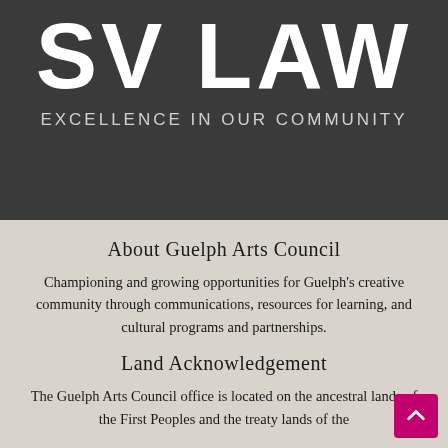SV LAW
EXCELLENCE IN OUR COMMUNITY
About Guelph Arts Council
Championing and growing opportunities for Guelph's creative community through communications, resources for learning, and cultural programs and partnerships.
Land Acknowledgement
The Guelph Arts Council office is located on the ancestral lands of the First Peoples and the treaty lands of the